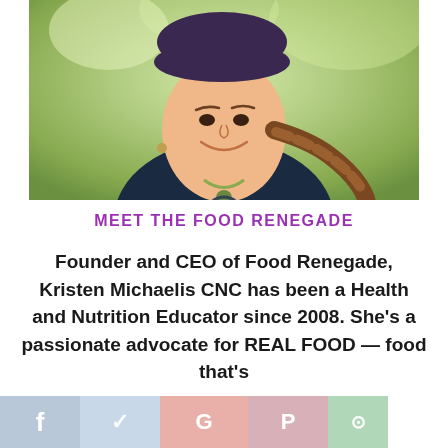[Figure (photo): Portrait photo of Kristen Michaelis CNC, a woman with a long braid, wearing a dark top and necklace, outdoors with green foliage background]
MEET THE FOOD RENEGADE
Founder and CEO of Food Renegade, Kristen Michaelis CNC has been a Health and Nutrition Educator since 2008. She’s a passionate advocate for REAL FOOD — food that’s organic, local, and traditionally-
[Figure (infographic): Social sharing bar at bottom with Facebook (f), Twitter, Google+, Pinterest, WhatsApp icons]